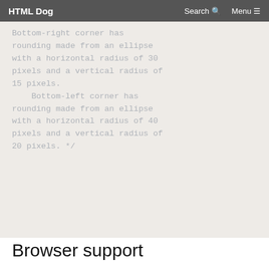HTML Dog | Search | Menu
Bottom-right corner has rounding made from an ellipse with a horizontal radius of 30 pixels and a vertical radius of 15 pixels.
    Bottom-left corner has rounding made from an ellipse with a horizontal radius of 40 pixels and a vertical radius of 20 pixels. */
Browser support